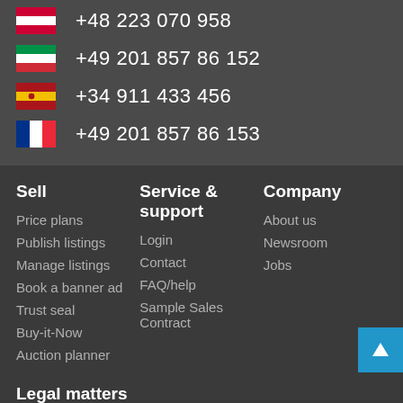+48 223 070 958
+49 201 857 86 152
+34 911 433 456
+49 201 857 86 153
Sell
Price plans
Publish listings
Manage listings
Book a banner ad
Trust seal
Buy-it-Now
Auction planner
Service & support
Login
Contact
FAQ/help
Sample Sales Contract
Company
About us
Newsroom
Jobs
Legal matters
Imprint
Terms & Conditions